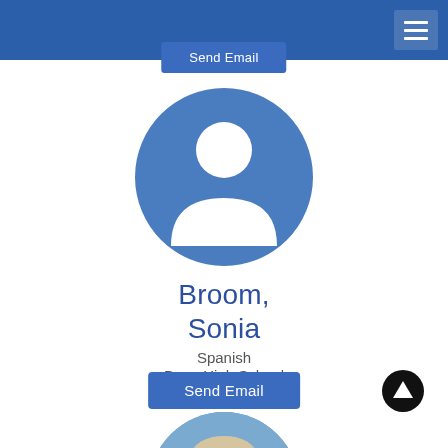Send Email
[Figure (illustration): Default user avatar: a blue circle containing a white silhouette of a person (head circle and shoulder arc)]
Broom, Sonia
Spanish
Buna High School
Send Email
[Figure (photo): Circular cropped photo of a woman with short gray-blonde hair, smiling, against a blue background]